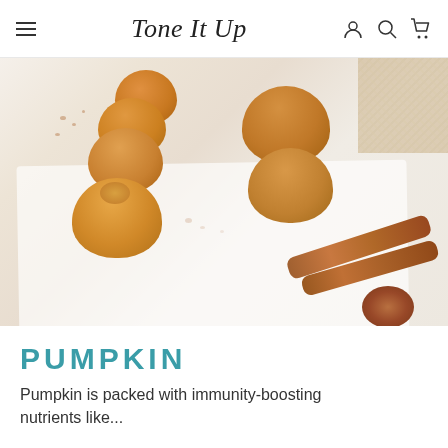Tone It Up
[Figure (photo): Pumpkin muffins arranged on a white marble board with cinnamon sticks, dusted with cinnamon spice, on a light background with burlap fabric in the corner]
PUMPKIN
Pumpkin is packed with immunity-boosting nutrients like...